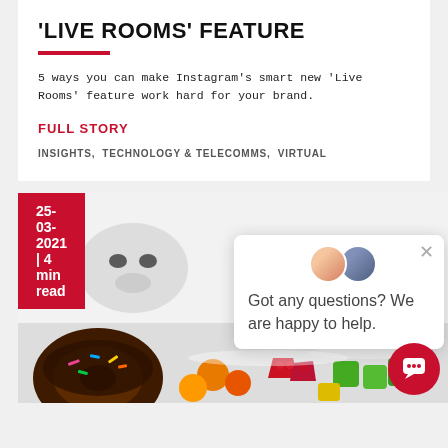'LIVE ROOMS' FEATURE
5 ways you can make Instagram's smart new 'Live Rooms' feature work hard for your brand.
FULL STORY
INSIGHTS,  TECHNOLOGY & TELECOMMS,  VIRTUAL
25-03-2021 | 4 min read
[Figure (photo): Photo of sweets and confectionery including a chocolate donut with sprinkles and colorful candy/gummy sweets on a white snowy background, with a chat widget popup showing avatars and text 'Got any questions? We are happy to help.']